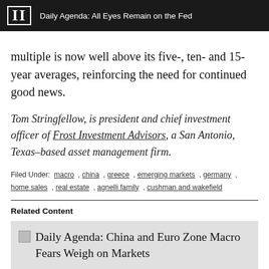II  Daily Agenda: All Eyes Remain on the Fed
multiple is now well above its five-, ten- and 15-year averages, reinforcing the need for continued good news.
Tom Stringfellow, is president and chief investment officer of Frost Investment Advisors, a San Antonio, Texas–based asset management firm.
Filed Under:  macro , china , greece , emerging markets , germany , home sales , real estate , agnelli family , cushman and wakefield
Related Content
Daily Agenda: China and Euro Zone Macro Fears Weigh on Markets